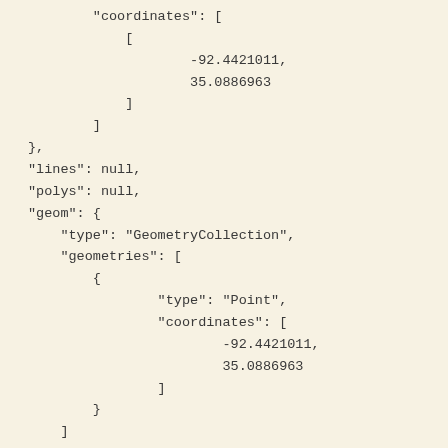"coordinates": [
    [
            -92.4421011,
            35.0886963
    ]
]
},
"lines": null,
"polys": null,
"geom": {
    "type": "GeometryCollection",
    "geometries": [
        {
                "type": "Point",
                "coordinates": [
                        -92.4421011,
                        35.0886963
                ]
        }
    ]
},
"length": 0.0